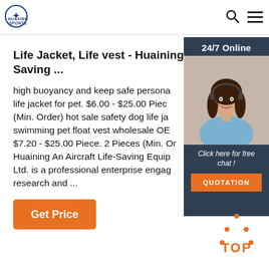HUAXING SPORTS - navigation header with search and menu icons
Life Jacket, Life vest - Huaining An Air Saving ...
high buoyancy and keep safe personal life jacket for pet. $6.00 - $25.00 Piece (Min. Order) hot sale safety dog life jacket swimming pet float vest wholesale OEM $7.20 - $25.00 Piece. 2 Pieces (Min. Order) Huaining An Aircraft Life-Saving Equipment Ltd. is a professional enterprise engaged in research and ...
[Figure (photo): Customer service agent woman wearing headset, smiling. Overlay: 24/7 Online badge at top, Click here for free chat! text, QUOTATION orange button.]
Get Price
[Figure (other): Back to TOP button with orange dot-triangle icon above the text TOP in orange]